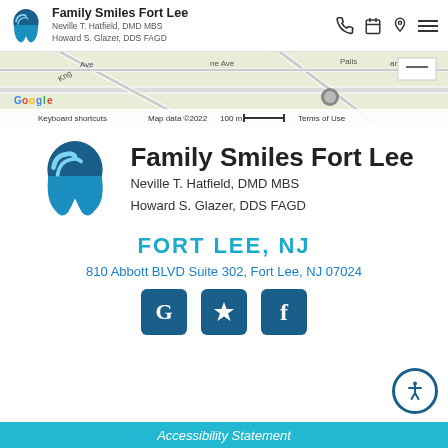Family Smiles Fort Lee | Neville T. Hatfield, DMD MBS | Howard S. Glazer, DDS FAGD
[Figure (map): Google Maps screenshot showing street map with roads including Kng Ave, Palisade area. Map data ©2022, 100m scale bar, Keyboard shortcuts, Terms of Use labels visible.]
[Figure (logo): Family Smiles Fort Lee tooth logo (large) with text: Family Smiles Fort Lee, Neville T. Hatfield, DMD MBS, Howard S. Glazer, DDS FAGD]
FORT LEE, NJ
810 Abbott BLVD Suite 302, Fort Lee, NJ 07024
[Figure (infographic): Three social media icon buttons: G (Google), Yelp star icon, f (Facebook), all in dark teal/navy square rounded buttons]
Accessibility Statement